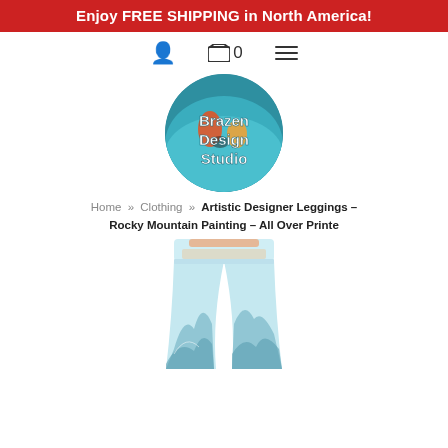Enjoy FREE SHIPPING in North America!
[Figure (logo): Brazen Design Studio circular logo with text overlay on colorful background showing people kayaking]
Home » Clothing » Artistic Designer Leggings - Rocky Mountain Painting - All Over Printe
[Figure (photo): Product photo of artistic designer leggings with Rocky Mountain Painting all-over print design, showing light blue waistband and mountain landscape print on lower portion]